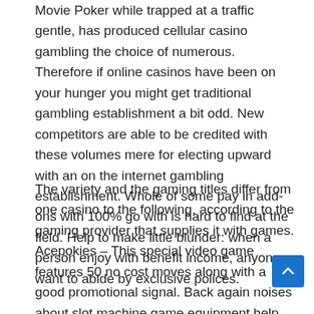Movie Poker while trapped at a traffic gentle, has produced cellular casino gambling the choice of numerous. Therefore if online casinos have been on your hunger you might get traditional gambling establishment a bit odd. New competitors are able to be credited with these volumes mere for electing upward with an on the internet gambling establishment. Whole of some pay in add-ons with 100% go with is hard to find at the field. Help to make little blunder: when a person enjoy with benefit income, anyone want to abide by exclusive polices.
The variety and the gaming titles differ from one casino to the following, according to the gaming provider that supplies it with games. Acepokies – This special video game features 50 no cost moves along with a good promotional signal. Back again noises about slot machine game equipment help make playing considerably more exhilarating, corresponding to the latest learn by just Mike Dixon and mates out of the College of Waterloo Canada. There are several websites casino 888 that offers a big variety of online casinos on the that regularly share on time and